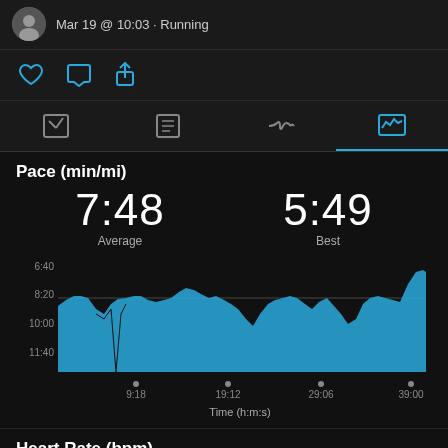Mar 19 @ 10:03 · Running
Pace (min/mi)
7:48 Average
5:49 Best
[Figure (area-chart): Area chart showing pace over time, mostly around 8:20 with variation, spike at end around 6:40]
Heart Rate (bpm)
165
183